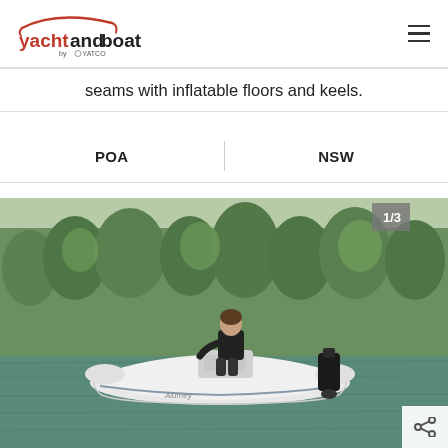[Figure (logo): yachtandboat by YATCO logo — red stylized boat hull outline above text 'yachtandboat' in mixed red and black, 'by YATCO' beneath in small text]
seams with inflatable floors and keels.
POA
NSW
[Figure (photo): Man sitting in a white inflatable RIB boat with a black outboard motor, on a river or lake surrounded by trees. The boat appears to be an Alumex or similar brand. Image counter badge '1/3' in top right corner. Share icon in bottom right corner.]